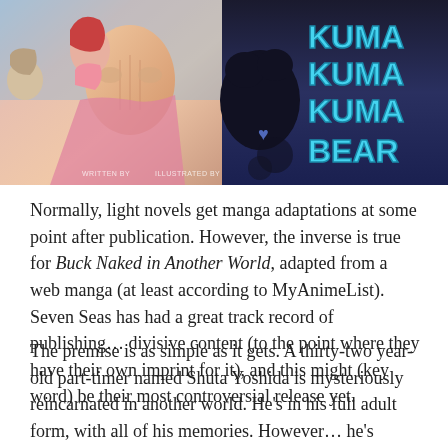[Figure (photo): Two manga/light novel book covers side by side. Left cover shows anime-style characters in colorful clothing. Right cover shows dark background with 'KUMA KUMA KUMA BEAR' text in large cyan letters and a paw print.]
Normally, light novels get manga adaptations at some point after publication. However, the inverse is true for Buck Naked in Another World, adapted from a web manga (at least according to MyAnimeList). Seven Seas has had a great track record of publishing… divisive content (to the point where they have their own imprint for it), and this might (key word) be their most controversial release yet.
The premise is as simple as it gets. A thirty-two year-old part-timer named Shuta Yoshida is mysteriously reincarnated in another world. He's in his full adult form, with all of his memories. However… he's naked! As such, he has to do hard labor for scraps… while having his wee-wee barely blocked from view by a loincloth.